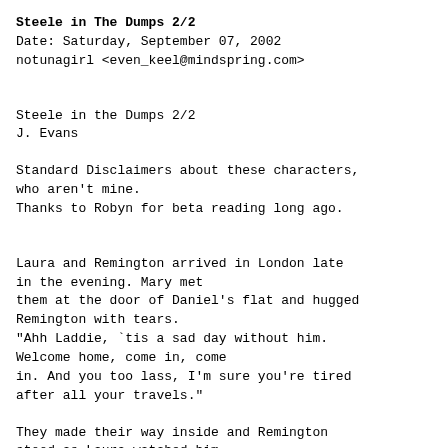Steele in The Dumps 2/2
Date: Saturday, September 07, 2002
notunagirl <even_keel@mindspring.com>
Steele in the Dumps 2/2
J. Evans
Standard Disclaimers about these characters, who aren't mine.
Thanks to Robyn for beta reading long ago.
Laura and Remington arrived in London late in the evening. Mary met
them at the door of Daniel's flat and hugged Remington with tears.
"Ahh Laddie, `tis a sad day without him. Welcome home, come in, come
in. And you too lass, I'm sure you're tired after all your travels."
They made their way inside and Remington stood as Laura watched him.
He looked around the room toward the stairs